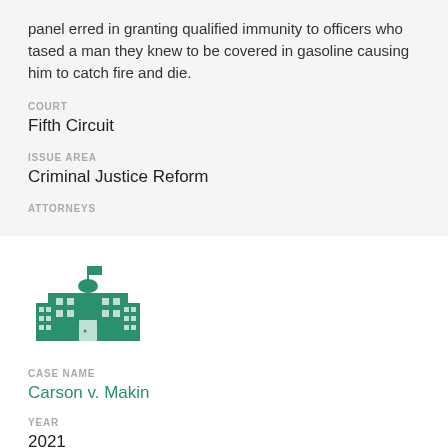panel erred in granting qualified immunity to officers who tased a man they knew to be covered in gasoline causing him to catch fire and die.
COURT
Fifth Circuit
ISSUE AREA
Criminal Justice Reform
ATTORNEYS
[Figure (illustration): Green icon of a school/government building with a dome and flag on top, windows on the facade]
CASE NAME
Carson v. Makin
YEAR
2021